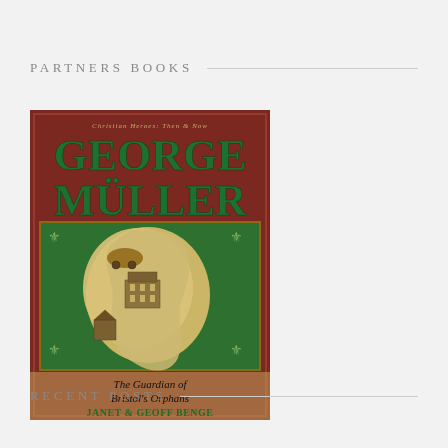PARTNERS BOOKS
[Figure (illustration): Book cover of 'George Müller: The Guardian of Bristol's Orphans' by Janet & Geoff Benge, part of the Christian Heroes: Then & Now series. Dark red cover with large green title text, a central illustrated map of England with drawings of buildings and horse-drawn carriages, and a beige map shape on a green background.]
RECENT POSTS